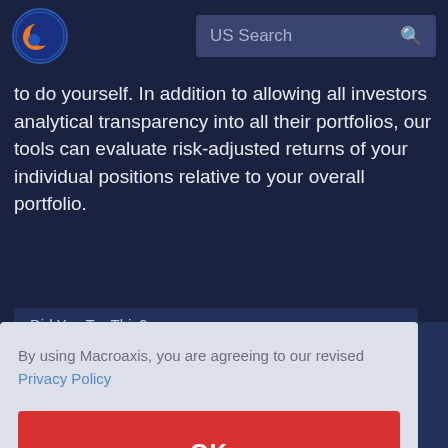[Figure (logo): Macroaxis globe logo — orange and blue sphere icon]
US Search
to do yourself. In addition to allowing all investors analytical transparency into all their portfolios, our tools can evaluate risk-adjusted returns of your individual positions relative to your overall portfolio.
Did You Try This?
By using Macroaxis, you are agreeing to our revised Privacy Policy
OK
ntent -play